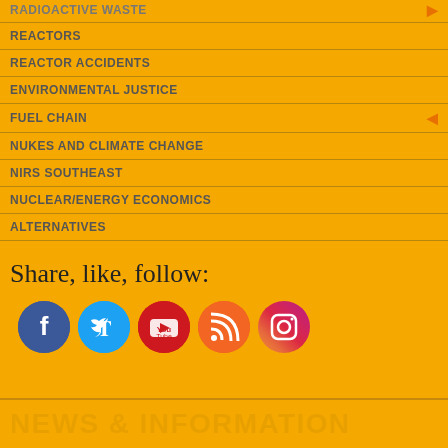RADIOACTIVE WASTE
REACTORS
REACTOR ACCIDENTS
ENVIRONMENTAL JUSTICE
FUEL CHAIN
NUKES AND CLIMATE CHANGE
NIRS SOUTHEAST
NUCLEAR/ENERGY ECONOMICS
ALTERNATIVES
Share, like, follow:
[Figure (illustration): Social media icons: Facebook, Twitter, YouTube, RSS, Instagram]
NEWS & INFORMATION